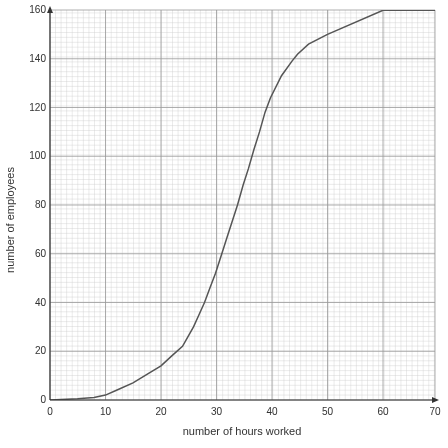[Figure (continuous-plot): S-shaped cumulative curve (ogive) showing number of employees (y-axis, 0-160) vs number of hours worked (x-axis, 0-70). The curve starts near zero around x=8, rises steeply through x=30-45, and flattens approaching 160 at x=70.]